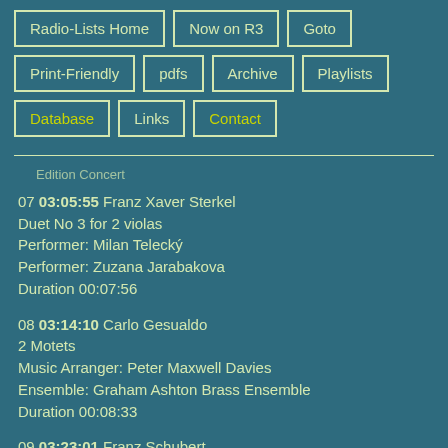Radio-Lists Home | Now on R3 | Goto | Print-Friendly | pdfs | Archive | Playlists | Database | Links | Contact
Edition Concert
07 03:05:55 Franz Xaver Sterkel
Duet No 3 for 2 violas
Performer: Milan Telecký
Performer: Zuzana Jarabakova
Duration 00:07:56
08 03:14:10 Carlo Gesualdo
2 Motets
Music Arranger: Peter Maxwell Davies
Ensemble: Graham Ashton Brass Ensemble
Duration 00:08:33
09 03:23:01 Franz Schubert
Piano Trio in E flat, 'Notturno'
Performer: Leif Ove Andsnes